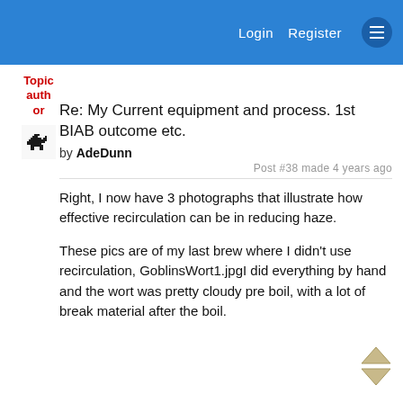Login   Register
Topic author
[Figure (photo): Small pixelated avatar image of a dark creature/boar silhouette]
Re: My Current equipment and process. 1st BIAB outcome etc.
by AdeDunn
Post #38 made 4 years ago
Right, I now have 3 photographs that illustrate how effective recirculation can be in reducing haze.
These pics are of my last brew where I didn't use recirculation, GoblinsWort1.jpgI did everything by hand and the wort was pretty cloudy pre boil, with a lot of break material after the boil.